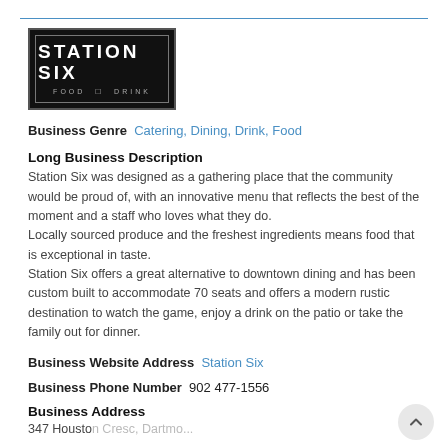[Figure (logo): Station Six Food and Drink logo — white text on black background with decorative border]
Business Genre  Catering, Dining, Drink, Food
Long Business Description
Station Six was designed as a gathering place that the community would be proud of, with an innovative menu that reflects the best of the moment and a staff who loves what they do.
Locally sourced produce and the freshest ingredients means food that is exceptional in taste.
Station Six offers a great alternative to downtown dining and has been custom built to accommodate 70 seats and offers a modern rustic destination to watch the game, enjoy a drink on the patio or take the family out for dinner.
Business Website Address  Station Six
Business Phone Number  902 477-1556
Business Address
347 Houston Cresc, Dartmouth...